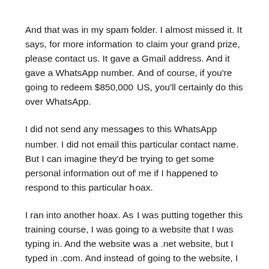And that was in my spam folder. I almost missed it. It says, for more information to claim your grand prize, please contact us. It gave a Gmail address. And it gave a WhatsApp number. And of course, if you're going to redeem $850,000 US, you'll certainly do this over WhatsApp.
I did not send any messages to this WhatsApp number. I did not email this particular contact name. But I can imagine they'd be trying to get some personal information out of me if I happened to respond to this particular hoax.
I ran into another hoax. As I was putting together this training course, I was going to a website that I was typing in. And the website was a .net website, but I typed in .com. And instead of going to the website, I received this message inside of my browser which looks like a window on top of my browser, but it actually was a graphic in the browser itself.
And it looks like a really well-done software update page to update my Adobe Flash Player. And it even says, you can download Flash and